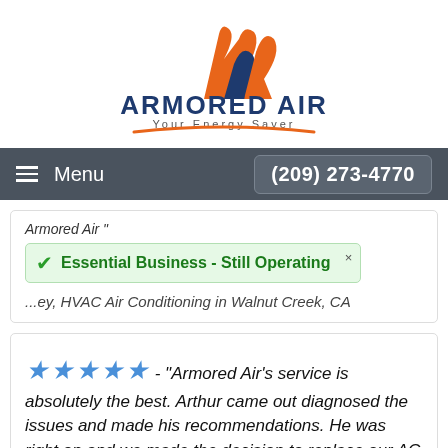[Figure (logo): Armored Air logo with orange and blue flame/letter A icon, text 'ARMORED AIR' in dark blue, tagline 'Your Energy Saver' in gray, orange swoosh underneath]
Menu  (209) 273-4770
Armored Air "
✓ Essential Business - Still Operating  ×
...ey, HVAC Air Conditioning in Walnut Creek, CA
★★★★★ - "Armored Air's service is absolutely the best. Arthur came out diagnosed the issues and made his recommendations. He was right on and we made the decision to replace our AC system. The install Adrian and Gabriel were so professional and so polite